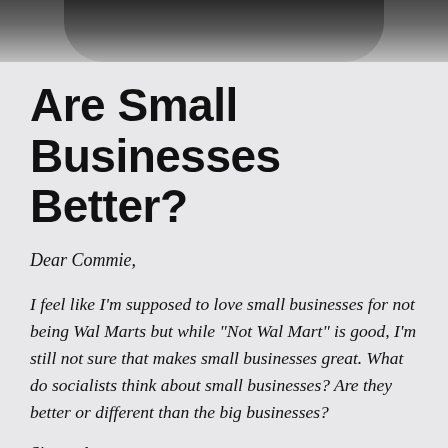[Figure (photo): Black and white photo strip showing the lower portion of a person's head/neck area, cropped at the top of the page]
Are Small Businesses Better?
Dear Commie,
I feel like I'm supposed to love small businesses for not being Wal Marts but while “Not Wal Mart” is good, I'm still not sure that makes small businesses great. What do socialists think about small businesses? Are they better or different than the big businesses?
Sincerely,